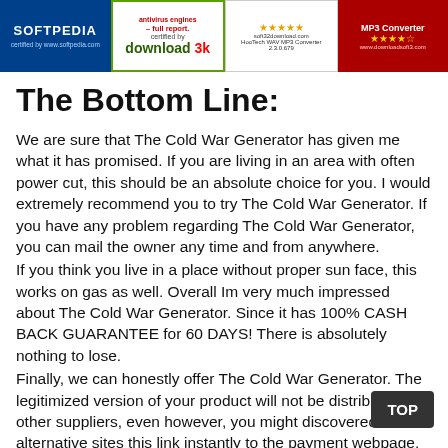[Figure (infographic): Row of four software certification/award badges: Softpedia certified (blue background), Download3k antivirus full report certified (green/white), HooTech WAV MP3 Converter 2.3.0.679 rating from soft32download.com (star rating), and an MP3 Converter award from downloadsoft3.com (red background with stars).]
The Bottom Line:
We are sure that The Cold War Generator has given me what it has promised. If you are living in an area with often power cut, this should be an absolute choice for you. I would extremely recommend you to try The Cold War Generator. If you have any problem regarding The Cold War Generator, you can mail the owner any time and from anywhere.
If you think you live in a place without proper sun face, this works on gas as well. Overall Im very much impressed about The Cold War Generator. Since it has 100% CASH BACK GUARANTEE for 60 DAYS! There is absolutely nothing to lose.
Finally, we can honestly offer The Cold War Generator. The legitimized version of your product will not be distributed by other suppliers, even however, you might discovered some alternative sites this link instantly to the payment webpage. Having reported that, it is far better click by means of the